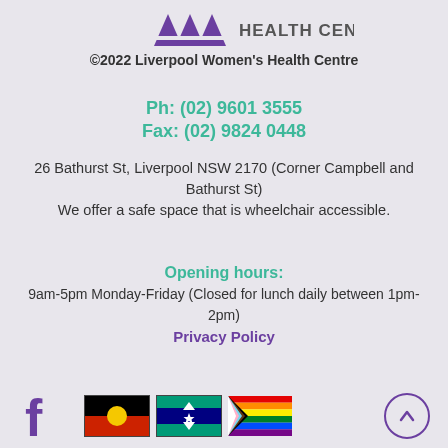[Figure (logo): Liverpool Women's Health Centre logo with stylized arrow/person figures in purple and the text HEALTH CENTRE]
©2022 Liverpool Women's Health Centre
Ph: (02) 9601 3555
Fax: (02) 9824 0448
26 Bathurst St, Liverpool NSW 2170 (Corner Campbell and Bathurst St)
We offer a safe space that is wheelchair accessible.
Opening hours:
9am-5pm Monday-Friday (Closed for lunch daily between 1pm-2pm)
Privacy Policy
[Figure (illustration): Facebook logo icon in purple, Aboriginal flag, Torres Strait Islander flag, Progress Pride flag, and a circular up-arrow button in purple]